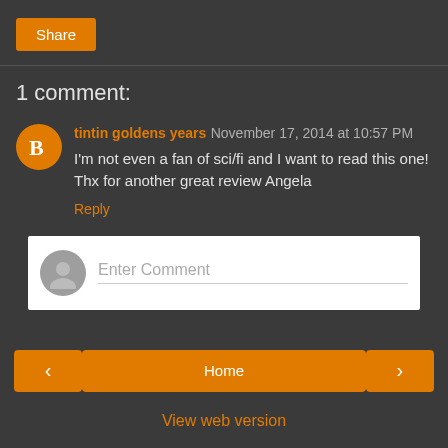Share
1 comment:
tintin goldens years November 17, 2014 at 10:57 PM
I'm not even a fan of sci/fi and I want to read this one! Thx for another great review Angela
Reply
Enter Comment
Home
View web version